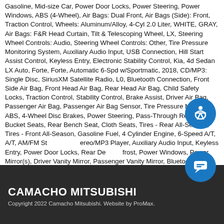Gasoline, Mid-size Car, Power Door Locks, Power Steering, Power Windows, ABS (4-Wheel), Air Bags: Dual Front, Air Bags (Side): Front, Traction Control, Wheels: Aluminum/Alloy, 4-Cyl 2.0 Liter, WHITE, GRAY, Air Bags: F&R Head Curtain, Tilt & Telescoping Wheel, LX, Steering Wheel Controls: Audio, Steering Wheel Controls: Other, Tire Pressure Monitoring System, Auxiliary Audio Input, USB Connection, Hill Start Assist Control, Keyless Entry, Electronic Stability Control, Kia, 4d Sedan LX Auto, Forte, Forte, Automatic 6-Spd w/Sportmatic, 2018, CD/MP3: Single Disc, SiriusXM Satellite Radio, L0, Bluetooth Connection, Front Side Air Bag, Front Head Air Bag, Rear Head Air Bag, Child Safety Locks, Traction Control, Stability Control, Brake Assist, Driver Air Bag, Passenger Air Bag, Passenger Air Bag Sensor, Tire Pressure Monitor, ABS, 4-Wheel Disc Brakes, Power Steering, Pass-Through Rear Seat, Bucket Seats, Rear Bench Seat, Cloth Seats, Tires - Rear All-Season, Tires - Front All-Season, Gasoline Fuel, 4 Cylinder Engine, 6-Speed A/T, A/T, AM/FM Stereo/MP3 Player, Auxiliary Audio Input, Keyless Entry, Power Door Locks, Rear Defrost, Power Windows, Power Mirror(s), Driver Vanity Mirror, Passenger Vanity Mirror, Bluetooth Connection, Security System, Cruise Control, Adjustable Steering Wheel, Intermittent Wipers, Variable Speed Intermittent Wipers, Steering Wheel Audio Controls, Automatic Headlights, Trip Computer, A/C, Front Wheel Drive, Transmission w/Dual Shift Mode, Satellite Radio, Heated Mirrors, Remote Trunk Release, GRAY, CLOTH SEAT TRIM, Gasoline Fuel, 4 Cylinder Engine
CAMACHO MITSUBISHI
Copyright 2022 Camacho Mitsubishi. Website by ProMax.